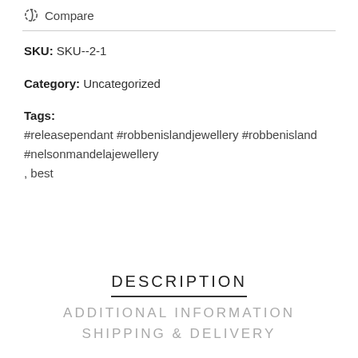Compare
SKU: SKU--2-1
Category: Uncategorized
Tags:
#releasependant #robbenislandjewellery #robbenisland #nelsonmandelajewellery
,  best
DESCRIPTION
ADDITIONAL INFORMATION
SHIPPING & DELIVERY